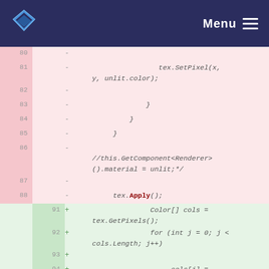Menu
[Figure (screenshot): Code diff view showing removed lines (pink background, lines 80-88) and added lines (green background, lines 91-95). Removed lines include tex.SetPixel(x, y, unlit.color), closing braces, a commented out line, and tex.Apply(). Added lines include Color[] cols = tex.GetPixels(), a for loop, cols[j] = tempColor, and tex.SetPixels(cols).]